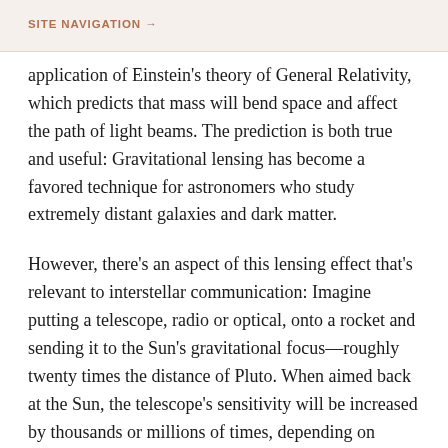SITE NAVIGATION →
application of Einstein's theory of General Relativity, which predicts that mass will bend space and affect the path of light beams. The prediction is both true and useful: Gravitational lensing has become a favored technique for astronomers who study extremely distant galaxies and dark matter.
However, there's an aspect of this lensing effect that's relevant to interstellar communication: Imagine putting a telescope, radio or optical, onto a rocket and sending it to the Sun's gravitational focus—roughly twenty times the distance of Pluto. When aimed back at the Sun, the telescope's sensitivity will be increased by thousands or millions of times, depending on wavelength. Such an instrument would be capable of detecting even low-